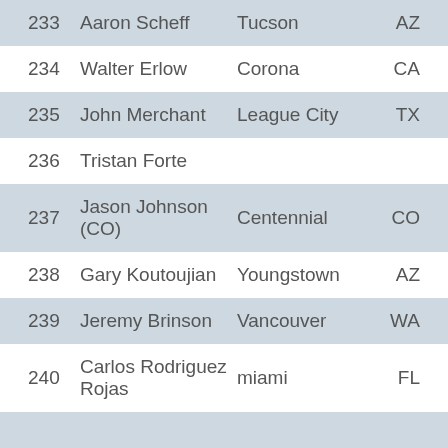| # | Name | City | State |
| --- | --- | --- | --- |
| 233 | Aaron Scheff | Tucson | AZ |
| 234 | Walter Erlow | Corona | CA |
| 235 | John Merchant | League City | TX |
| 236 | Tristan Forte |  |  |
| 237 | Jason Johnson (CO) | Centennial | CO |
| 238 | Gary Koutoujian | Youngstown | AZ |
| 239 | Jeremy Brinson | Vancouver | WA |
| 240 | Carlos Rodriguez Rojas | miami | FL |